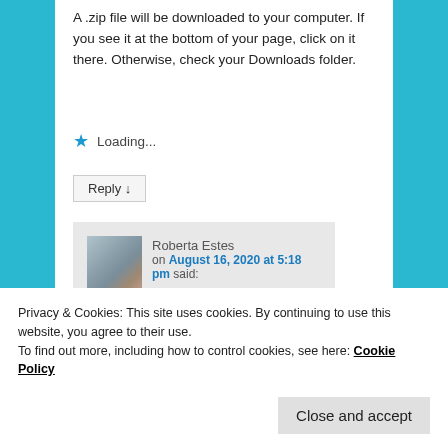A .zip file will be downloaded to your computer. If you see it at the bottom of your page, click on it there. Otherwise, check your Downloads folder.
Loading...
Reply ↓
Roberta Estes on August 16, 2020 at 5:18 pm said:
They didn't send out any warning.
Privacy & Cookies: This site uses cookies. By continuing to use this website, you agree to their use.
To find out more, including how to control cookies, see here: Cookie Policy
Close and accept
on August 16, 2020